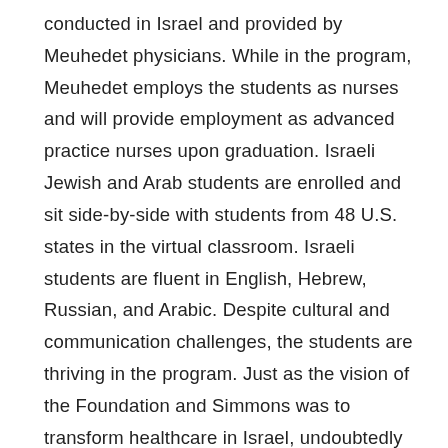conducted in Israel and provided by Meuhedet physicians. While in the program, Meuhedet employs the students as nurses and will provide employment as advanced practice nurses upon graduation. Israeli Jewish and Arab students are enrolled and sit side-by-side with students from 48 U.S. states in the virtual classroom. Israeli students are fluent in English, Hebrew, Russian, and Arabic. Despite cultural and communication challenges, the students are thriving in the program. Just as the vision of the Foundation and Simmons was to transform healthcare in Israel, undoubtedly the Israeli students are effecting changes in their American fellow students who have become colleagues and friends.